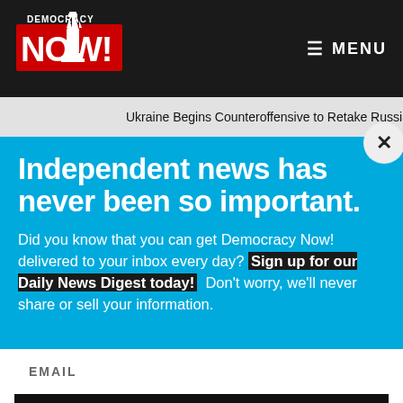[Figure (logo): Democracy Now! logo in red with white text and Statue of Liberty graphic on dark background]
≡ MENU
Ukraine Begins Counteroffensive to Retake Russian-
Independent news has never been so important.
Did you know that you can get Democracy Now! delivered to your inbox every day? Sign up for our Daily News Digest today! Don't worry, we'll never share or sell your information.